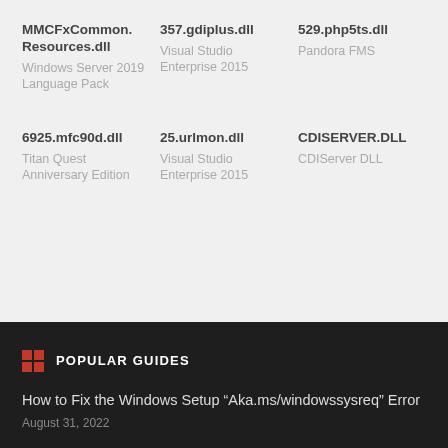MMCFxCommon.Resources.dll
Windows Server 2019 Language Pack
357.gdiplus.dll
Visual Studio Enterprise 2015
529.php5ts.dll
Pandora FMS
6925.mfc90d.dll
Titan Quest Anniversary Edition
25.urlmon.dll
Visual Studio Enterprise 2015
CDISERVER.DLL
CDIServer DLL
POPULAR GUIDES
How to Fix the Windows Setup “Aka.ms/windowssysreq” Error
August 31, 2022